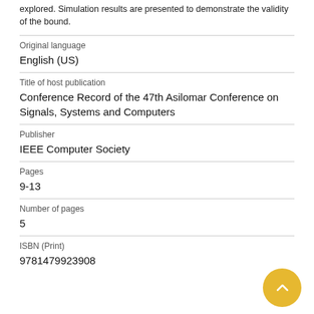explored. Simulation results are presented to demonstrate the validity of the bound.
| Original language | English (US) |
| Title of host publication | Conference Record of the 47th Asilomar Conference on Signals, Systems and Computers |
| Publisher | IEEE Computer Society |
| Pages | 9-13 |
| Number of pages | 5 |
| ISBN (Print) | 9781479923908 |